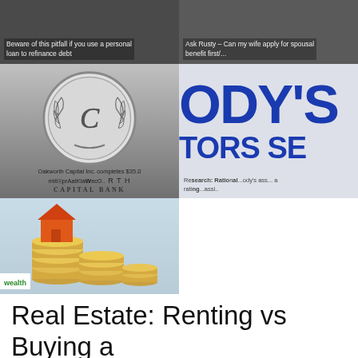[Figure (photo): Two thumbnail images side by side at top: left shows a person with text about pitfall of using a personal loan, right shows a person (Ask Rusty) with text about spousal benefit first]
[Figure (photo): Left: Oakworth Capital Bank coin/medallion logo on grey background with text 'Oakworth Capital Inc. completes $35.0 million...OAKWORTH CAPITAL BANK'. Right: Moody's Investors Service logo text partially visible in blue on light background with research text below.]
[Figure (photo): Orange miniature house sitting on stacked coins against light blue background, with green 'wealth' text badge in lower left corner]
Real Estate: Renting vs Buying a Home: Research S...